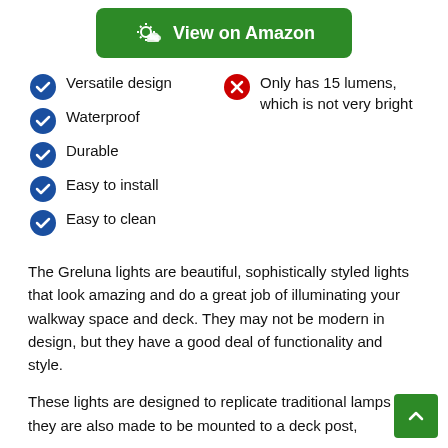[Figure (other): Green 'View on Amazon' button with sun/cloud icon]
Versatile design
Waterproof
Durable
Easy to install
Easy to clean
Only has 15 lumens, which is not very bright
The Greluna lights are beautiful, sophistically styled lights that look amazing and do a great job of illuminating your walkway space and deck. They may not be modern in design, but they have a good deal of functionality and style.
These lights are designed to replicate traditional lamps and they are also made to be mounted to a deck post,